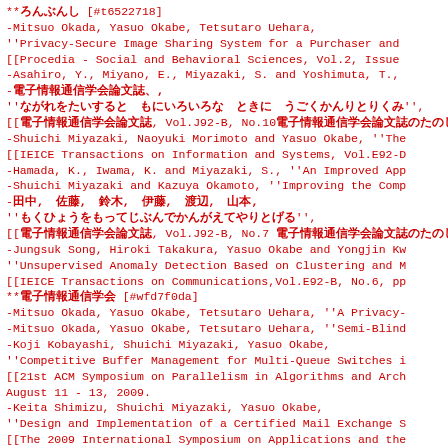**ろんぶんし [#t6522718]
-Mitsuo Okada, Yasuo Okabe, Tetsutaro Uehara,
''Privacy-Secure Image Sharing System for a Purchaser and
[[Procedia - Social and Behavioral Sciences, Vol.2, Issue
-Asahiro, Y., Miyano, E., Miyazaki, S. and Yoshimuta, T.,
-電子情報通信学会論文誌、,
''ながれをたいすると もにいろいろな ときに うごくかんりとりくみ '',
[[電子情報通信学会論文誌, Vol.J92-B, No.10電子情報通信学会論文誌のたのしみ
-Shuichi Miyazaki, Naoyuki Morimoto and Yasuo Okabe, ''The
[[IEICE Transactions on Information and Systems, Vol.E92-D
-Hamada, K., Iwama, K. and Miyazaki, S., ''An Improved App
-Shuichi Miyazaki and Kazuya Okamoto, ''Improving the Comp
-田中, 佐藤, 鈴木, 伊藤, 渡辺, 山本,
''もくひょうをもってじぶんでかんがえてやりとげる '',
[[電子情報通信学会論文誌, Vol.J92-B, No.7 電子情報通信学会論文誌のたのしみ, pp.
-Jungsuk Song, Hiroki Takakura, Yasuo Okabe and Yongjin Kw
''Unsupervised Anomaly Detection Based on Clustering and M
[[IEICE Transactions on Communications,Vol.E92-B, No.6, pp
**電子情報通信学会 [#wfd7f0da]
-Mitsuo Okada, Yasuo Okabe, Tetsutaro Uehara, ''A Privacy-
-Mitsuo Okada, Yasuo Okabe, Tetsutaro Uehara, ''Semi-Blind
-Koji Kobayashi, Shuichi Miyazaki, Yasuo Okabe,
''Competitive Buffer Management for Multi-Queue Switches i
[[21st ACM Symposium on Parallelism in Algorithms and Arch
August 11 - 13, 2009.
-Keita Shimizu, Shuichi Miyazaki, Yasuo Okabe,
''Design and Implementation of a Certified Mail Exchange S
[[The 2009 International Symposium on Applications and the
-Keiji Maekawa, Yasuo Okabe,
''An Enhanced Location Privacy Framework with Mobility Us